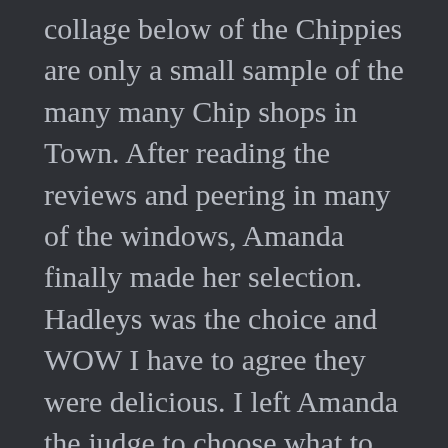collage below of the Chippies are only a small sample of the many many Chip shops in Town. After reading the reviews and peering in many of the windows, Amanda finally made her selection. Hadleys was the choice and WOW I have to agree they were delicious. I left Amanda the judge to choose what to have. Large Haddock and chips, mushy peas, tea, bread and butter………it was sooooo good. Best 25 quid meal ever.
Part of what has made this adventure so special is the people we have met along the